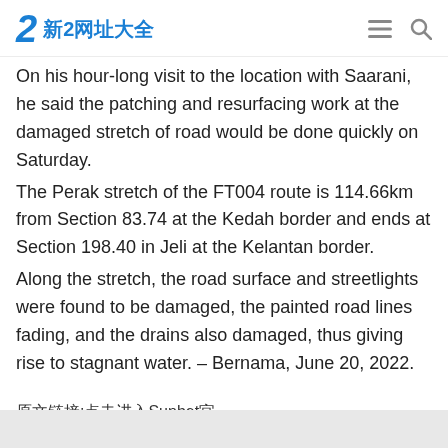新2网址大全
On his hour-long visit to the location with Saarani, he said the patching and resurfacing work at the damaged stretch of road would be done quickly on Saturday.
The Perak stretch of the FT004 route is 114.66km from Section 83.74 at the Kedah border and ends at Section 198.40 in Jeli at the Kelantan border.
Along the stretch, the road surface and streetlights were found to be damaged, the painted road lines fading, and the drains also damaged, thus giving rise to stagnant water. – Bernama, June 20, 2022.
原文链接:点击进入Sunbet官